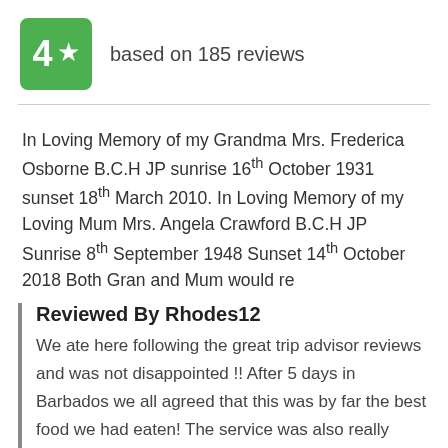[Figure (other): Green rating box showing '4' with a star icon, indicating a rating score]
based on 185 reviews
In Loving Memory of my Grandma Mrs. Frederica Osborne B.C.H JP sunrise 16th October 1931 sunset 18th March 2010. In Loving Memory of my Loving Mum Mrs. Angela Crawford B.C.H JP Sunrise 8th September 1948 Sunset 14th October 2018 Both Gran and Mum would re
Reviewed By Rhodes12
We ate here following the great trip advisor reviews and was not disappointed !! After 5 days in Barbados we all agreed that this was by far the best food we had eaten! The service was also really friendly and atmosphere great ( we visited on a Friday evening) We will be back on a Friday ...)